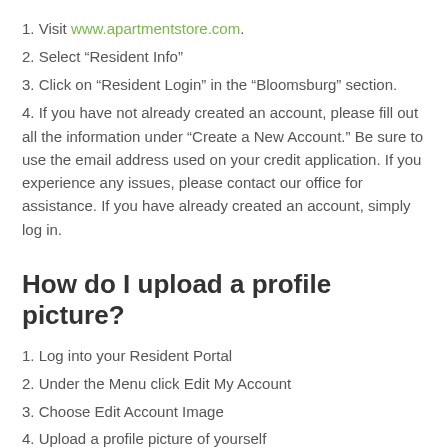1. Visit www.apartmentstore.com.
2. Select “Resident Info”
3. Click on “Resident Login” in the “Bloomsburg” section.
4. If you have not already created an account, please fill out all the information under “Create a New Account.”  Be sure to use the email address used on your credit application.  If you experience any issues, please contact our office for assistance.  If you have already created an account, simply log in.
How do I upload a profile picture?
1. Log into your Resident Portal
2. Under the Menu click Edit My Account
3. Choose Edit Account Image
4. Upload a profile picture of yourself